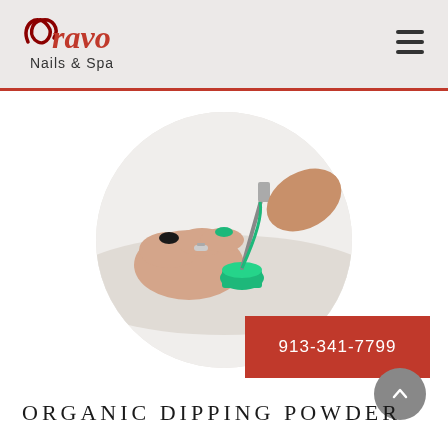[Figure (logo): Bravo Nails & Spa logo with cursive red and dark red lettering on light gray background header]
[Figure (photo): Circular cropped photo of hands receiving dipping powder nail treatment with green powder and brush]
913-341-7799
ORGANIC DIPPING POWDER